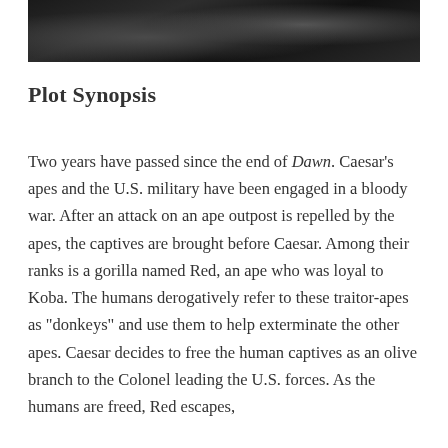[Figure (photo): Dark photograph showing apes with fur, likely a still from a movie scene]
Plot Synopsis
Two years have passed since the end of Dawn. Caesar's apes and the U.S. military have been engaged in a bloody war. After an attack on an ape outpost is repelled by the apes, the captives are brought before Caesar. Among their ranks is a gorilla named Red, an ape who was loyal to Koba. The humans derogatively refer to these traitor-apes as "donkeys" and use them to help exterminate the other apes. Caesar decides to free the human captives as an olive branch to the Colonel leading the U.S. forces. As the humans are freed, Red escapes,